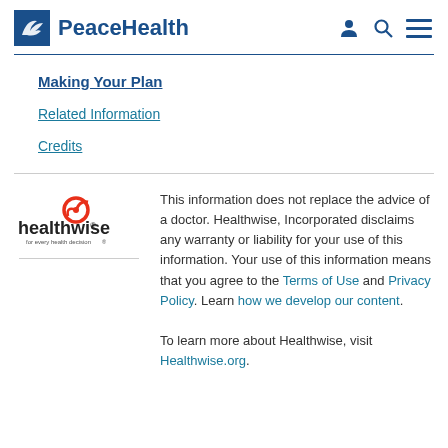PeaceHealth
Making Your Plan
Related Information
Credits
[Figure (logo): Healthwise logo — red spiral icon above the word 'healthwise' with tagline 'for every health decision']
This information does not replace the advice of a doctor. Healthwise, Incorporated disclaims any warranty or liability for your use of this information. Your use of this information means that you agree to the Terms of Use and Privacy Policy. Learn how we develop our content.

To learn more about Healthwise, visit Healthwise.org.